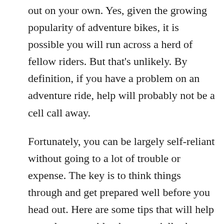out on your own. Yes, given the growing popularity of adventure bikes, it is possible you will run across a herd of fellow riders. But that's unlikely. By definition, if you have a problem on an adventure ride, help will probably not be a cell call away.
Fortunately, you can be largely self-reliant without going to a lot of trouble or expense. The key is to think things through and get prepared well before you head out. Here are some tips that will help any adventure rider, but especially those who may be new to the off-road part of the